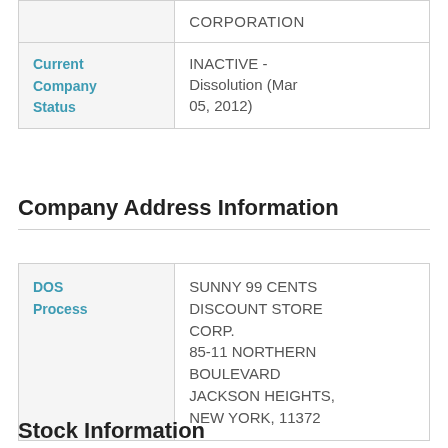|  | CORPORATION |
| Current Company Status | INACTIVE - Dissolution (Mar 05, 2012) |
Company Address Information
| DOS Process | SUNNY 99 CENTS DISCOUNT STORE CORP.
85-11 NORTHERN BOULEVARD
JACKSON HEIGHTS, NEW YORK, 11372 |
Stock Information